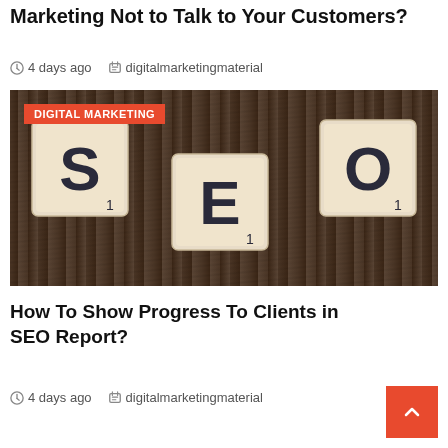Marketing Not to Talk to Your Customers?
4 days ago   digitalmarketingmaterial
[Figure (photo): SEO Scrabble tiles spelling S, E, O on a wooden surface with a red DIGITAL MARKETING badge overlay]
How To Show Progress To Clients in SEO Report?
4 days ago   digitalmarketingmaterial